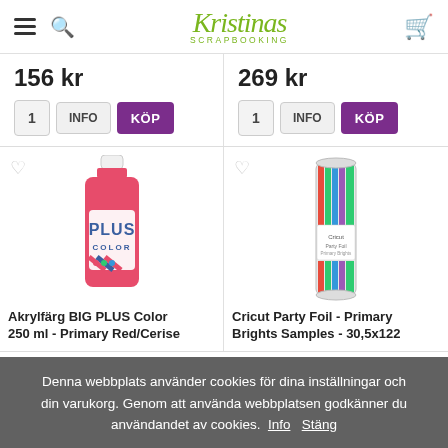Kristinas Scrapbooking — navigation header with logo, hamburger menu, search, and cart
156 kr
1  INFO  KÖP
269 kr
1  INFO  KÖP
[Figure (photo): Red acrylic paint bottle - Plus Color 250ml]
Akrylfärg BIG PLUS Color 250 ml - Primary Red/Cerise
[Figure (photo): Cricut Party Foil roll - Primary Brights Samples - 30,5x122]
Cricut Party Foil - Primary Brights Samples - 30,5x122
Denna webbplats använder cookies för dina inställningar och din varukorg. Genom att använda webbplatsen godkänner du användandet av cookies.  Info  Stäng